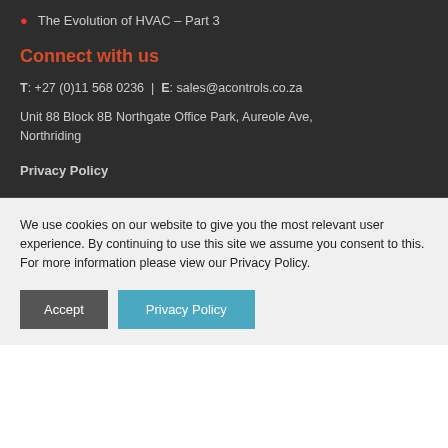The Evolution of HVAC – Part 3
Connect with us
T: +27 (0)11 568 0236  |  E: sales@acontrols.co.za
Unit 88 Block 8B Northgate Office Park, Aureole Ave, Northriding
Privacy Policy
We use cookies on our website to give you the most relevant user experience. By continuing to use this site we assume you consent to this. For more information please view our Privacy Policy.
Accept
Privacy Policy